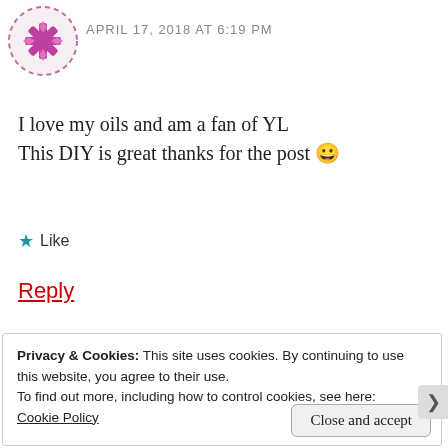[Figure (illustration): User avatar with pink/magenta snowflake-like icon inside a dashed circle border]
APRIL 17, 2018 AT 6:19 PM
I love my oils and am a fan of YL
This DIY is great thanks for the post 😀
★ Like
Reply
Advertisements
[Figure (screenshot): WordPress app advertisement banner with text 'Build a writing habit. Post on the go.' and 'GET THE APP' with WordPress logo]
Privacy & Cookies: This site uses cookies. By continuing to use this website, you agree to their use.
To find out more, including how to control cookies, see here:
Cookie Policy
Close and accept